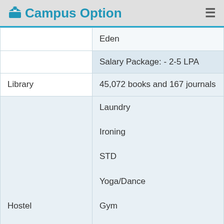Campus Option
|  | Eden

Salary Package: - 2-5 LPA |
| Library | 45,072 books and 167 journals |
| Hostel | Laundry
Ironing
STD
Yoga/Dance
Gym
Banking facility
Common room
Mess
Cafeteria |